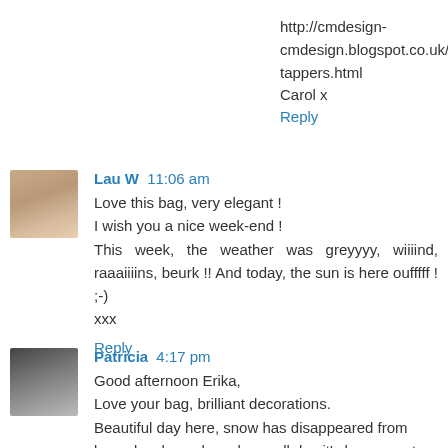http://cmdesign-cmdesign.blogspot.co.uk/2015/01/toe-tappers.html
Carol x
Reply
Lau W  11:06 am
Love this bag, very elegant !
I wish you a nice week-end !
This week, the weather was greyyyy, wiiiind, raaaiiiins, beurk !! And today, the sun is here oufffff ! ;-)
xxx
Reply
Patricia  4:17 pm
Good afternoon Erika,
Love your bag, brilliant decorations.
Beautiful day here, snow has disappeared from lower leval, sun has shone all day it's been great.
Have a good weekend